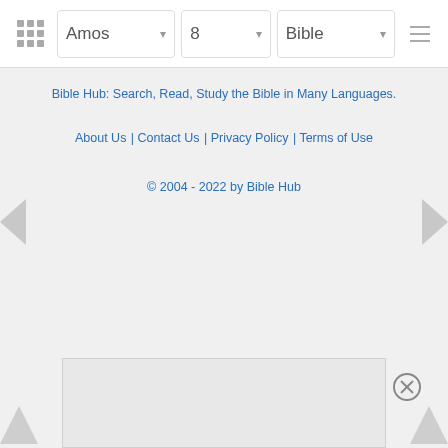Amos | 8 | Bible
Bible Hub: Search, Read, Study the Bible in Many Languages.
About Us | Contact Us | Privacy Policy | Terms of Use
© 2004 - 2022 by Bible Hub